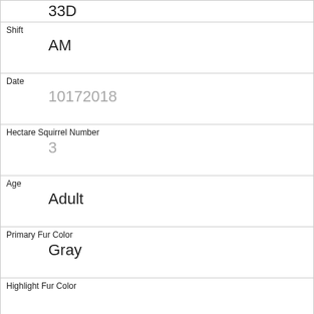| 33D |
| Shift | AM |
| Date | 10172018 |
| Hectare Squirrel Number | 3 |
| Age | Adult |
| Primary Fur Color | Gray |
| Highlight Fur Color |  |
| Combination of Primary and Highlight Color | Gray+ |
| Color notes |  |
| Location | Ground Plane |
| Above Ground Sighter Measurement | FALSE |